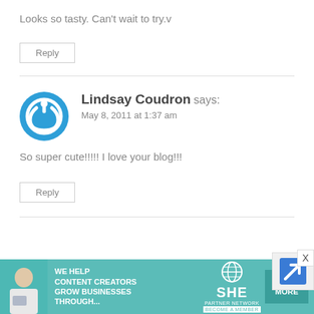Looks so tasty. Can't wait to try.v
Reply
Lindsay Coudron says: May 8, 2011 at 1:37 am
So super cute!!!!! I love your blog!!!
Reply
[Figure (screenshot): Ad banner for SHE Partner Network: 'We help content creators grow businesses through...' with Learn More button]